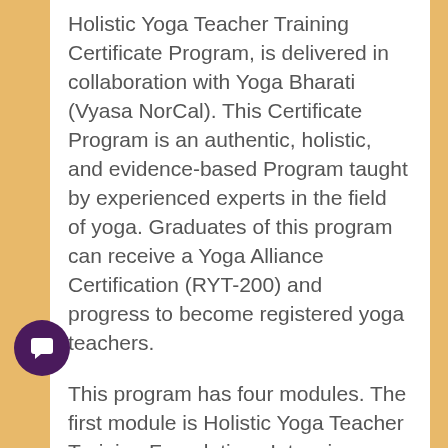Holistic Yoga Teacher Training Certificate Program, is delivered in collaboration with Yoga Bharati (Vyasa NorCal). This Certificate Program is an authentic, holistic, and evidence-based Program taught by experienced experts in the field of yoga. Graduates of this program can receive a Yoga Alliance Certification (RYT-200) and progress to become registered yoga teachers.
This program has four modules. The first module is Holistic Yoga Teacher Training Foundations Intensive where students get hands-on and didactic learning through online classroom training. Modules 2, 3, and 4 involve Electives, Internship, and